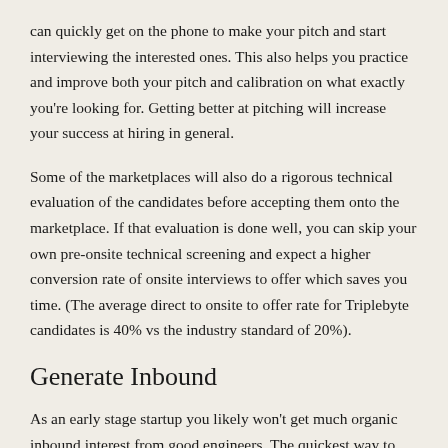can quickly get on the phone to make your pitch and start interviewing the interested ones. This also helps you practice and improve both your pitch and calibration on what exactly you're looking for. Getting better at pitching will increase your success at hiring in general.
Some of the marketplaces will also do a rigorous technical evaluation of the candidates before accepting them onto the marketplace. If that evaluation is done well, you can skip your own pre-onsite technical screening and expect a higher conversion rate of onsite interviews to offer which saves you time. (The average direct to onsite to offer rate for Triplebyte candidates is 40% vs the industry standard of 20%).
Generate Inbound
As an early stage startup you likely won't get much organic inbound interest from good engineers. The quickest way to generate this is posting on job sites. However most job sites aren't